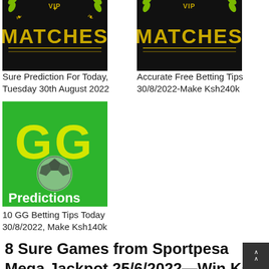[Figure (illustration): VIP Matches promotional image with black background, yellow text 'VIP MATCHES' and laurel wreath icon]
[Figure (illustration): VIP Matches promotional image with black background, yellow text 'VIP MATCHES' and laurel wreath icon]
Sure Prediction For Today, Tuesday 30th August 2022
Accurate Free Betting Tips 30/8/2022-Make Ksh240k
[Figure (illustration): GG Predictions image with green background, large yellow 'GG' text, soccer ball graphic, and white 'Predictions' text]
10 GG Betting Tips Today 30/8/2022, Make Ksh140k
8 Sure Games from Sportpesa Mega Jackpot 25/6/2022—Win Ksh 219.5Million